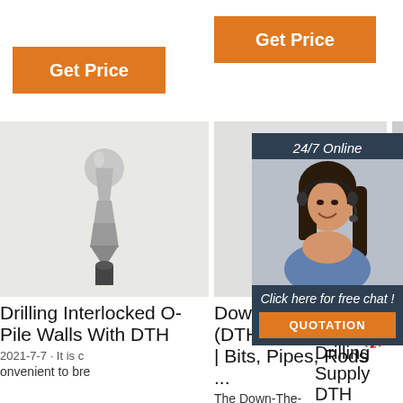[Figure (other): Orange 'Get Price' button on left]
[Figure (other): Orange 'Get Price' button in center]
[Figure (photo): Photo of a drilling interlocked O-pile DTH tool bit (metallic, cone-shaped)]
Drilling Interlocked O-Pile Walls With DTH
2021-7-7 · It is c
onvenient to bre
[Figure (photo): Photo of a Down The Hole (DTH) drilling bit (black, chisel-shaped)]
Down The Hole (DTH) Drilling Tools | Bits, Pipes, Rods ...
The Down-The-
[Figure (photo): Partially visible photo of a DTH Hammers product]
DTH Hammers Drilling Supply DTH Hammers
2019-8-13 · rota
[Figure (other): Chat widget with woman wearing headset, '24/7 Online' text, 'Click here for free chat!' text, and QUOTATION button]